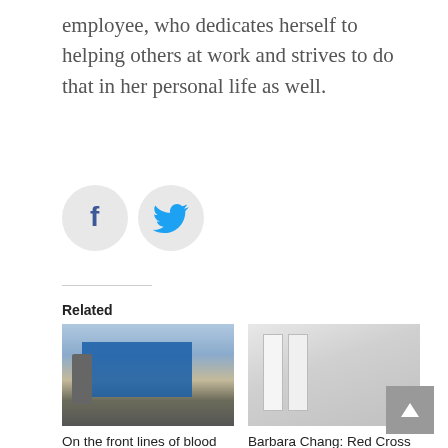employee, who dedicates herself to helping others at work and strives to do that in her personal life as well.
[Figure (illustration): Facebook and Twitter social share icon circles]
[Figure (photo): Photo of a building with a large red cross / blood donation center sign]
On the front lines of blood donation during Covid-19
July 17, 2020
[Figure (photo): Photo of white lab coats hanging on a rack with Red Cross logos]
Barbara Chang: Red Cross nurse with a passion for blood donation
May 8, 2020